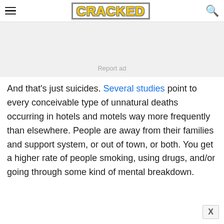CRACKED
[Figure (other): Advertisement placeholder box with 'Report ad' label]
And that's just suicides. Several studies point to every conceivable type of unnatural deaths occurring in hotels and motels way more frequently than elsewhere. People are away from their families and support system, or out of town, or both. You get a higher rate of people smoking, using drugs, and/or going through some kind of mental breakdown.